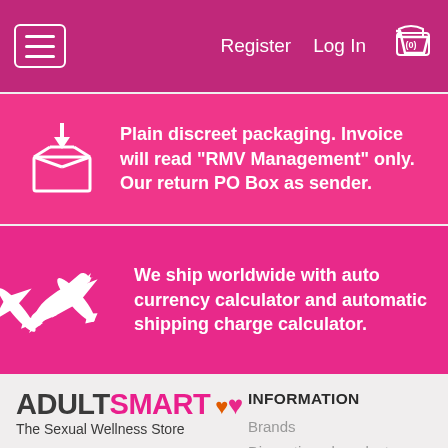Register  Log In  (0)
Plain discreet packaging. Invoice will read "RMV Management" only. Our return PO Box as sender.
We ship worldwide with auto currency calculator and automatic shipping charge calculator.
[Figure (logo): AdultSmart logo with hearts, tagline: The Sexual Wellness Store]
COMMUNITY
Adultsmart Blog
Product Reviews
INFORMATION
Brands
Discontinued products
Privacy Policy
Disclaimer
Terms and Conditions